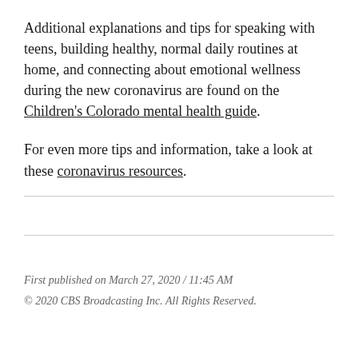Additional explanations and tips for speaking with teens, building healthy, normal daily routines at home, and connecting about emotional wellness during the new coronavirus are found on the Children's Colorado mental health guide.
For even more tips and information, take a look at these coronavirus resources.
First published on March 27, 2020 / 11:45 AM
© 2020 CBS Broadcasting Inc. All Rights Reserved.